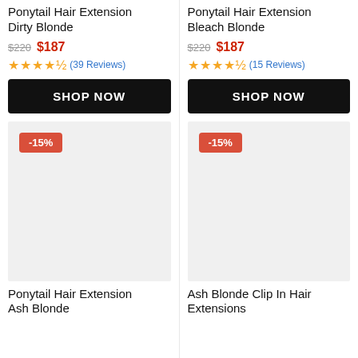Ponytail Hair Extension Dirty Blonde
$220 $187
★★★★½ (39 Reviews)
SHOP NOW
[Figure (photo): Product image placeholder with -15% discount badge, light gray background]
Ponytail Hair Extension Ash Blonde
Ponytail Hair Extension Bleach Blonde
$220 $187
★★★★½ (15 Reviews)
SHOP NOW
[Figure (photo): Product image placeholder with -15% discount badge, light gray background]
Ash Blonde Clip In Hair Extensions